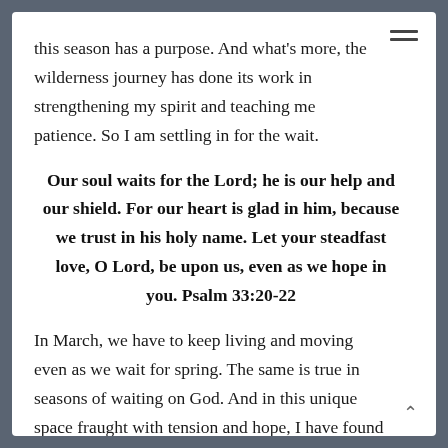this season has a purpose. And what's more, the wilderness journey has done its work in strengthening my spirit and teaching me patience. So I am settling in for the wait.
Our soul waits for the Lord; he is our help and our shield. For our heart is glad in him, because we trust in his holy name. Let your steadfast love, O Lord, be upon us, even as we hope in you. Psalm 33:20-22
In March, we have to keep living and moving even as we wait for spring. The same is true in seasons of waiting on God. And in this unique space fraught with tension and hope, I have found comfort in some life-giving practices. These have sustained